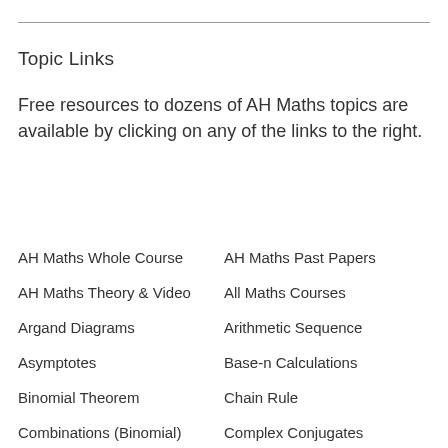Topic Links
Free resources to dozens of AH Maths topics are available by clicking on any of the links to the right.
AH Maths Whole Course
AH Maths Past Papers
AH Maths Theory & Video
All Maths Courses
Argand Diagrams
Arithmetic Sequence
Asymptotes
Base-n Calculations
Binomial Theorem
Chain Rule
Combinations (Binomial)
Complex Conjugates